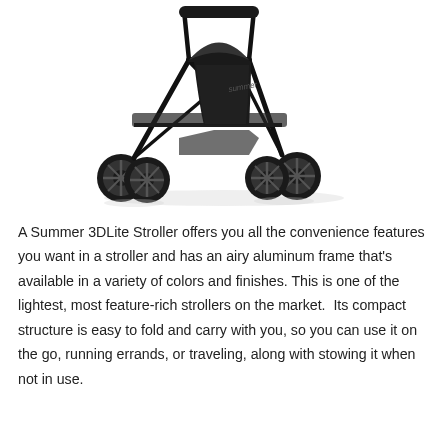[Figure (photo): A Summer 3DLite stroller in black with aluminum frame, shown from a front-side angle. The stroller has four double wheels, a reclined black seat with canopy, and a storage basket underneath.]
A Summer 3DLite Stroller offers you all the convenience features you want in a stroller and has an airy aluminum frame that's available in a variety of colors and finishes. This is one of the lightest, most feature-rich strollers on the market.  Its compact structure is easy to fold and carry with you, so you can use it on the go, running errands, or traveling, along with stowing it when not in use.